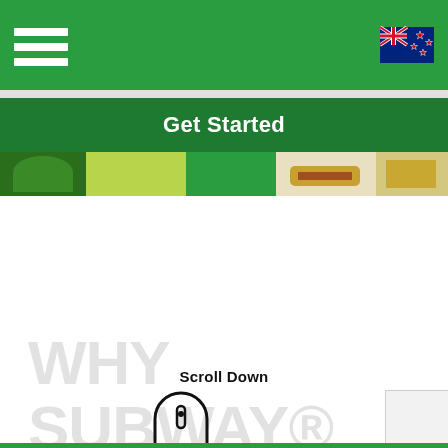Navigation bar with hamburger menu and New Zealand flag
Get Started
[Figure (photo): Horizontal strip of Subway franchise images including employee, food items, and branding]
WHY SUBWAY®
Scroll Down